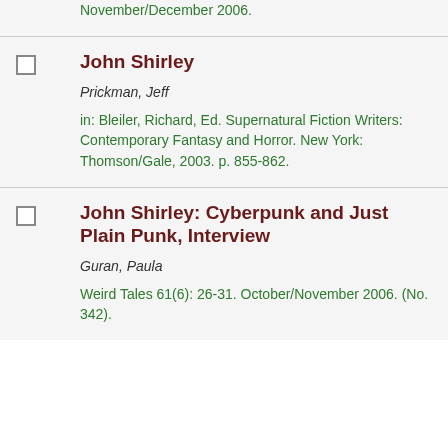November/December 2006.
John Shirley — Prickman, Jeff — in: Bleiler, Richard, Ed. Supernatural Fiction Writers: Contemporary Fantasy and Horror. New York: Thomson/Gale, 2003. p. 855-862.
John Shirley: Cyberpunk and Just Plain Punk, Interview — Guran, Paula — Weird Tales 61(6): 26-31. October/November 2006. (No. 342).